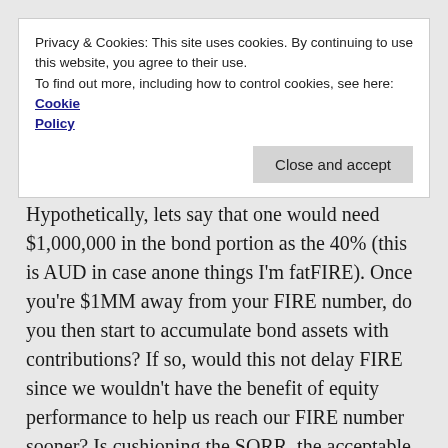Privacy & Cookies: This site uses cookies. By continuing to use this website, you agree to their use.
To find out more, including how to control cookies, see here: Cookie Policy
Close and accept
Hypothetically, lets say that one would need $1,000,000 in the bond portion as the 40% (this is AUD in case anone things I'm fatFIRE). Once you're $1MM away from your FIRE number, do you then start to accumulate bond assets with contributions? If so, would this not delay FIRE since we wouldn't have the benefit of equity performance to help us reach our FIRE number sooner? Is cushioning the SORR, the acceptable trade-off?
If instead, we rebalance by buying/selling assets to achieve the 60/40 portfolio then we would be